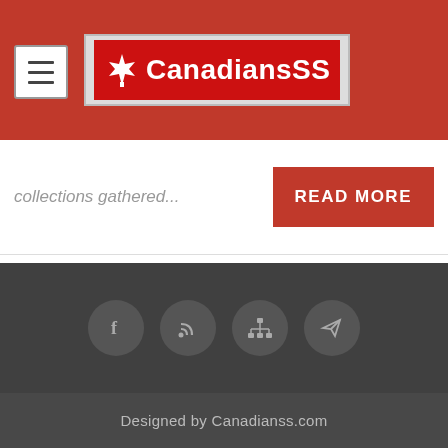[Figure (logo): CanadiansS logo with Canadian maple leaf on red background]
collections gathered...
READ MORE
[Figure (infographic): Social media icons: Facebook, RSS, sitemap/network, send/email in dark circular buttons]
Designed by Canadianss.com